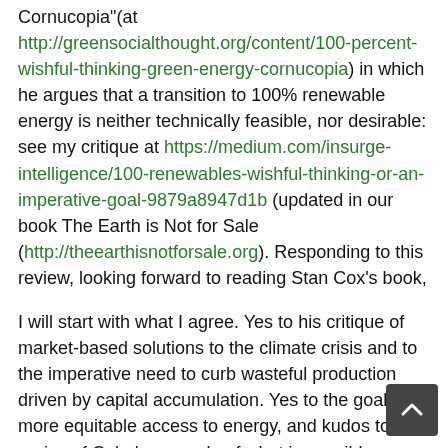Cornucopia"(at http://greensocialthought.org/content/100-percent-wishful-thinking-green-energy-cornucopia) in which he argues that a transition to 100% renewable energy is neither technically feasible, nor desirable: see my critique at https://medium.com/insurge-intelligence/100-renewables-wishful-thinking-or-an-imperative-goal-9879a8947d1b (updated in our book The Earth is Not for Sale (http://theearthisnotforsale.org). Responding to this review, looking forward to reading Stan Cox's book,
I will start with what I agree. Yes to his critique of market-based solutions to the climate crisis and to the imperative need to curb wasteful production driven by capital accumulation. Yes to the goal of more equitable access to energy, and kudos to his praise of Cuba's example of what is possible on many fronts to improve the quality of life for people worldwide.
Now for my critique, not to be disagreeable but rather to provoke rethinking of what is still another argument for